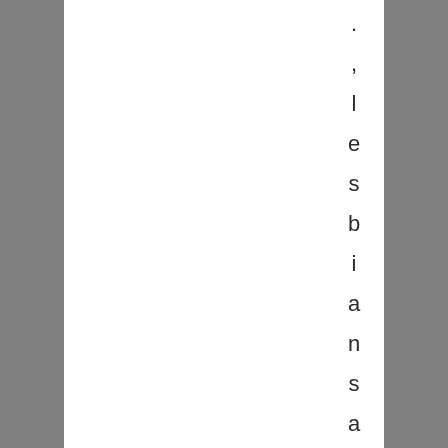. , l e s b i a n s a n d g a y s i n